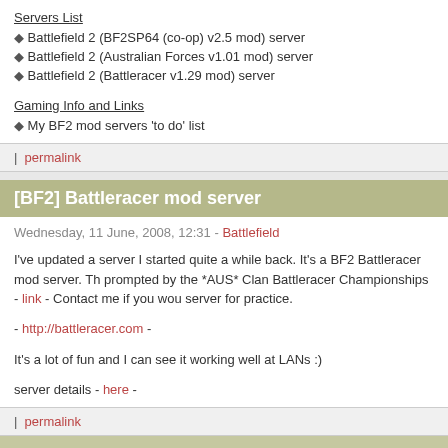Servers List
Battlefield 2 (BF2SP64 (co-op) v2.5 mod) server
Battlefield 2 (Australian Forces v1.01 mod) server
Battlefield 2 (Battleracer v1.29 mod) server
Gaming Info and Links
My BF2 mod servers 'to do' list
| permalink
[BF2] Battleracer mod server
Wednesday, 11 June, 2008, 12:31 - Battlefield
I've updated a server I started quite a while back. It's a BF2 Battleracer mod server. Th prompted by the *AUS* Clan Battleracer Championships - link - Contact me if you wou server for practice.
- http://battleracer.com -
It's a lot of fun and I can see it working well at LANs :)
server details - here -
| permalink